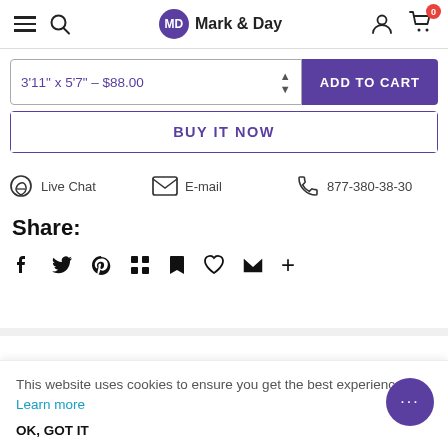Mark & Day — navigation header with hamburger, search, logo, user, cart (0)
3'11" x 5'7" – $88.00
ADD TO CART
BUY IT NOW
Live Chat   E-mail   877-380-38-30
Share:
Social share icons: Facebook, Twitter, Pinterest, Grid, Bookmark, Favorite, Email, More
This website uses cookies to ensure you get the best experience. Learn more
OK, GOT IT